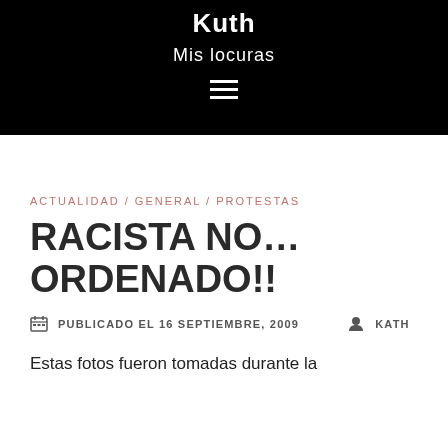Kuth
Mis locuras
ACTUALIDAD / GENERAL / PROTESTAS
RACISTA NO… ORDENADO!!
PUBLICADO EL 16 SEPTIEMBRE, 2009  KATH
Estas fotos fueron tomadas durante la